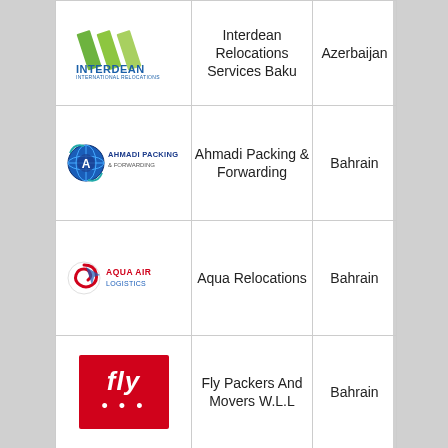| Logo | Company Name | Country |
| --- | --- | --- |
| [Interdean logo] | Interdean Relocations Services Baku | Azerbaijan |
| [Ahmadi Packing logo] | Ahmadi Packing & Forwarding | Bahrain |
| [Aqua Air Logistics logo] | Aqua Relocations | Bahrain |
| [Fly logo] | Fly Packers And Movers W.L.L | Bahrain |